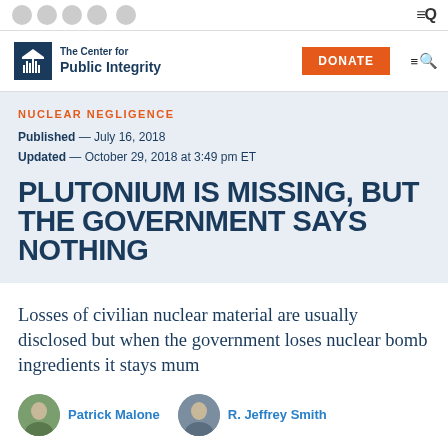The Center for Public Integrity
NUCLEAR NEGLIGENCE
Published — July 16, 2018
Updated — October 29, 2018 at 3:49 pm ET
PLUTONIUM IS MISSING, BUT THE GOVERNMENT SAYS NOTHING
Losses of civilian nuclear material are usually disclosed but when the government loses nuclear bomb ingredients it stays mum
Patrick Malone
R. Jeffrey Smith